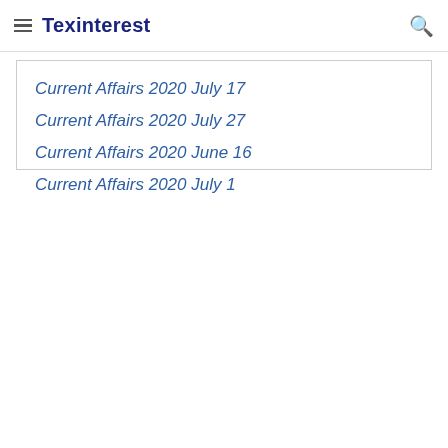Texinterest
Current Affairs 2020 July 17
Current Affairs 2020 July 27
Current Affairs 2020 June 16
Current Affairs 2020 July 1